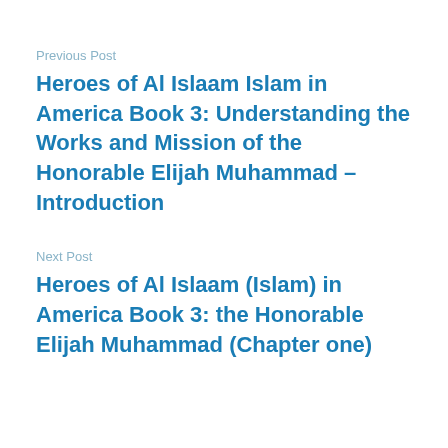Previous Post
Heroes of Al Islaam Islam in America Book 3: Understanding the Works and Mission of the Honorable Elijah Muhammad – Introduction
Next Post
Heroes of Al Islaam (Islam) in America Book 3: the Honorable Elijah Muhammad (Chapter one)